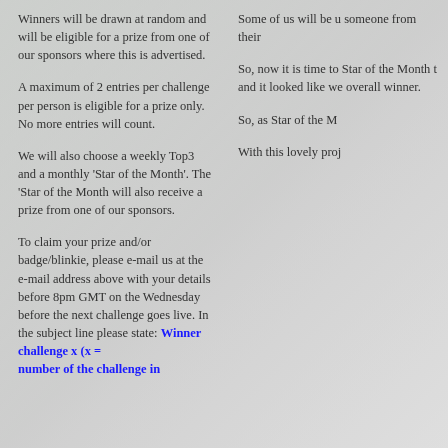Winners will be drawn at random and will be eligible for a prize from one of our sponsors where this is advertised.
A maximum of 2 entries per challenge per person is eligible for a prize only. No more entries will count.
We will also choose a weekly Top3 and a monthly 'Star of the Month'. The 'Star of the Month will also receive a prize from one of our sponsors.
To claim your prize and/or badge/blinkie, please e-mail us at the e-mail address above with your details before 8pm GMT on the Wednesday before the next challenge goes live. In the subject line please state: Winner challenge x (x = number of the challenge in
Some of us will be u someone from their
So, now it is time to Star of the Month t and it looked like we overall winner.
So, as Star of the M
With this lovely proj